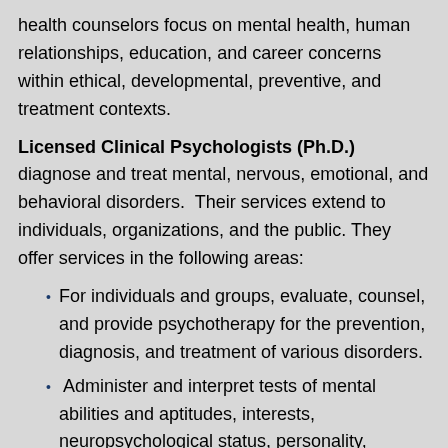health counselors focus on mental health, human relationships, education, and career concerns within ethical, developmental, preventive, and treatment contexts.
Licensed Clinical Psychologists (Ph.D.) diagnose and treat mental, nervous, emotional, and behavioral disorders.  Their services extend to individuals, organizations, and the public. They offer services in the following areas:
For individuals and groups, evaluate, counsel, and provide psychotherapy for the prevention, diagnosis, and treatment of various disorders.
Administer and interpret tests of mental abilities and aptitudes, interests, neuropsychological status, personality, emotions, and motivation.